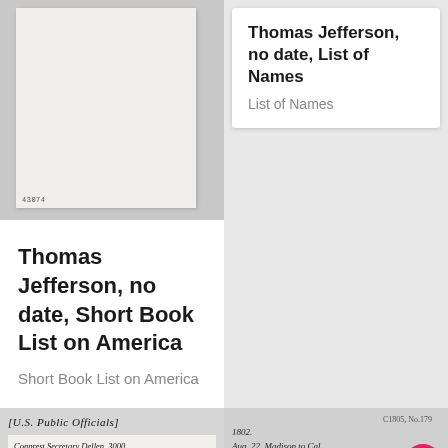[Figure (photo): Scanned historical document, blank/faded page with small text '43074' at bottom left]
Thomas Jefferson, no date, List of Names
List of Names
Thomas Jefferson, no date, Short Book List on America
Short Book List on America
[Figure (photo): Scanned handwritten document with text '[U.S. PUBLIC OFFICIALS]' and handwritten entries including 'Conprest Secretary Dellen 3000', 'Dep. Sec? 1000', 'riddle 1000']
[Figure (photo): Scanned handwritten document with text 'C1805, No. 179', '1802.', 'Aug. 22. Madison to Cal', '1806.', '2 may 26. Dabro's opinion']